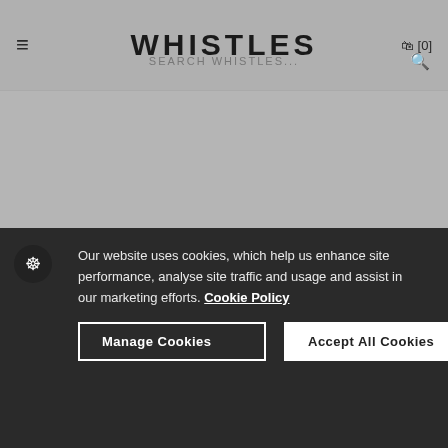WHISTLES
$2,399.00
QUICK ADD
QUICK ADD
Our website uses cookies, which help us enhance site performance, analyse site traffic and usage and assist in our marketing efforts. Cookie Policy
Manage Cookies
Accept All Cookies